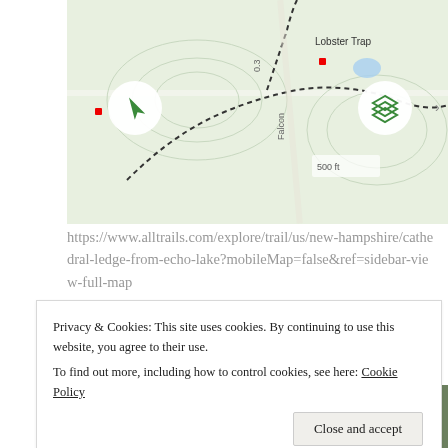[Figure (map): AllTrails map screenshot showing trail for Cathedral Ledge from Echo Lake in New Hampshire. Shows topographic map with dashed trail lines, location markers, navigation button (arrow icon), and layers button (stacked layers icon). 'Lobster Trap' label visible in upper right area.]
https://www.alltrails.com/explore/trail/us/new-hampshire/cathedral-ledge-from-echo-lake?mobileMap=false&ref=sidebar-view-full-map
[Figure (photo): Photo of hikers on a forested trail, group of people standing among trees and rocks.]
Privacy & Cookies: This site uses cookies. By continuing to use this website, you agree to their use.
To find out more, including how to control cookies, see here: Cookie Policy
Close and accept